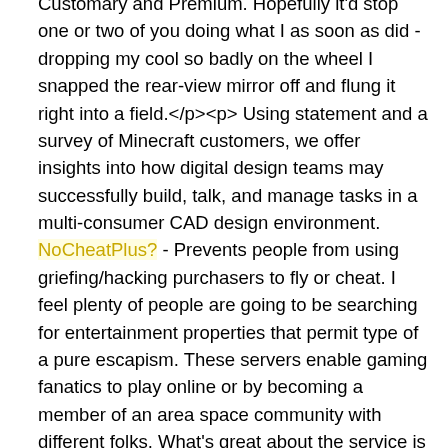Customary and Premium. Hopefully it'd stop one or two of you doing what I as soon as did - dropping my cool so badly on the wheel I snapped the rear-view mirror off and flung it right into a field.</p><p> Using statement and a survey of Minecraft customers, we offer insights into how digital design teams may successfully build, talk, and manage tasks in a multi-consumer CAD design environment.
NoCheatPlus? - Prevents people from using griefing/hacking purchasers to fly or cheat. I feel plenty of people are going to be searching for entertainment properties that permit type of a pure escapism. These servers enable gaming fanatics to play online or by becoming a member of an area space community with different folks. What's great about the service is that you can host servers for multiple video games. Different blockchain-based mostly cloud service providers, such as the lately launched Internet Pc (ICP), have complicated nodes mechanism and necessities that users